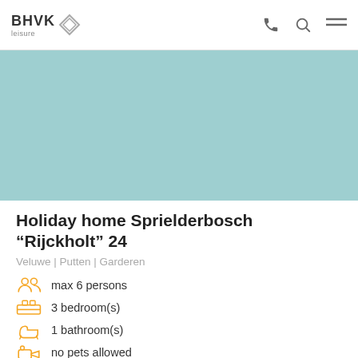BHVK leisure
[Figure (photo): Teal/mint colored hero image placeholder for holiday home property]
Holiday home Sprielderbosch "Rijckholt" 24
Veluwe | Putten | Garderen
max 6 persons
3 bedroom(s)
1 bathroom(s)
no pets allowed
9.3 ★★★★★